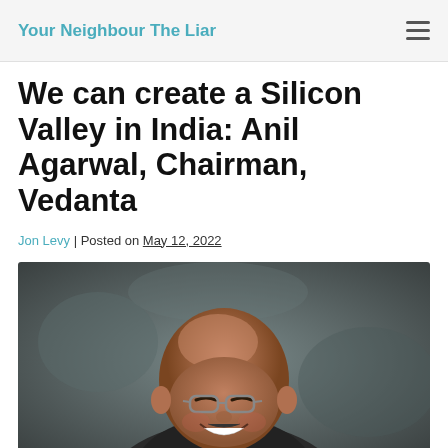Your Neighbour The Liar
We can create a Silicon Valley in India: Anil Agarwal, Chairman, Vedanta
Jon Levy | Posted on May 12, 2022
[Figure (photo): A smiling bald man wearing glasses, photographed outdoors with a blurred background, appearing to be Anil Agarwal.]